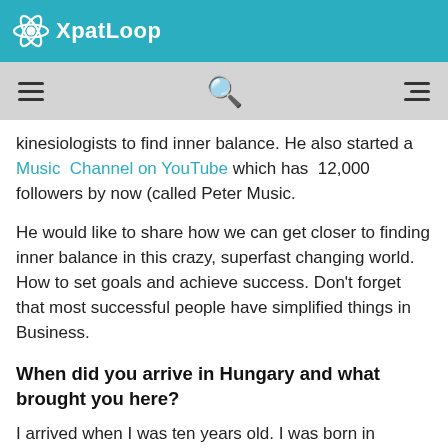XpatLoop
kinesiologists to find inner balance. He also started a Music Channel on YouTube which has 12,000 followers by now (called Peter Music.
He would like to share how we can get closer to finding inner balance in this crazy, superfast changing world. How to set goals and achieve success. Don't forget that most successful people have simplified things in Business.
When did you arrive in Hungary and what brought you here?
I arrived when I was ten years old. I was born in Sydney, Australia, but I went back to Brisbane when I was 16.